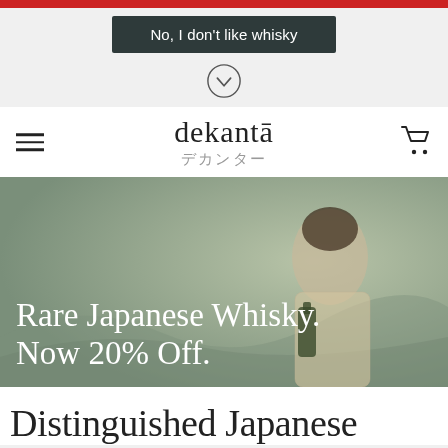[Figure (screenshot): Red bar at top of page, dismissal UI element]
No, I don't like whisky
[Figure (illustration): Chevron down arrow in a circle]
[Figure (logo): dekantā logo with Japanese text デカンター]
[Figure (photo): Hero image of a woman in kimono holding a whisky bottle with promotional text overlay: Rare Japanese Whisky. Now 20% Off.]
Distinguished Japanese